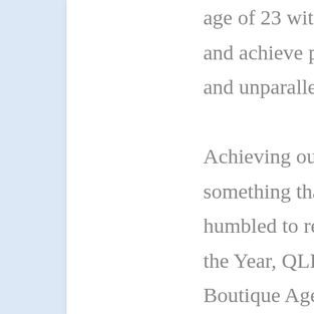age of 23 with the vision to provide outstanding service and achieve premium results through superior marketing and unparalleled market knowledge.

Achieving outstanding results for her clients is something that comes naturally to Emmy, She was humbled to receive the coveted Boutique Principal of the Year, QLD Agent of the Year and the coveted Boutique Agency of the Year at the 2015 Australasian